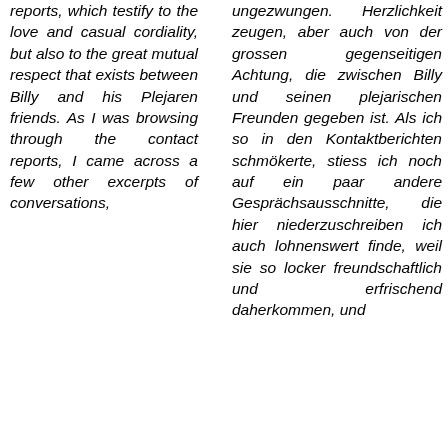reports, which testify to the love and casual cordiality, but also to the great mutual respect that exists between Billy and his Plejaren friends. As I was browsing through the contact reports, I came across a few other excerpts of conversations,
ungezwungen. Herzlichkeit zeugen, aber auch von der grossen gegenseitigen Achtung, die zwischen Billy und seinen plejarischen Freunden gegeben ist. Als ich so in den Kontaktberichten schmökerte, stiess ich noch auf ein paar andere Gesprächsausschnitte, die hier niederzuschreiben ich auch lohnenswert finde, weil sie so locker freundschaftlich und erfrischend daherkommen, und